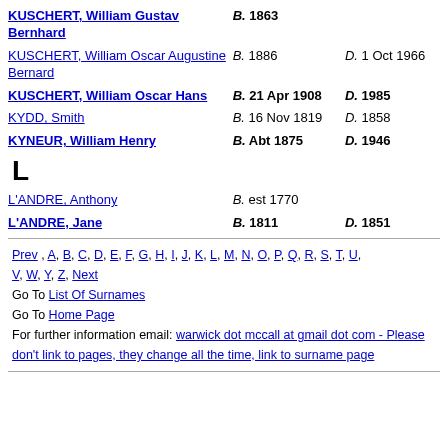KUSCHERT, William Gustav Bernhard | B. 1863
KUSCHERT, William Oscar Augustine Bernard | B. 1886 | D. 1 Oct 1966
KUSCHERT, William Oscar Hans | B. 21 Apr 1908 | D. 1985
KYDD, Smith | B. 16 Nov 1819 | D. 1858
KYNEUR, William Henry | B. Abt 1875 | D. 1946
L
L'ANDRE, Anthony | B. est 1770
L'ANDRE, Jane | B. 1811 | D. 1851
Prev , A, B, C, D, E, F, G, H, I, J, K, L, M, N, O, P, Q, R, S, T, U, V, W, Y, Z, Next
Go To List Of Surnames
Go To Home Page
For further information email: warwick dot mccall at gmail dot com - Please don't link to pages, they change all the time, link to surname page